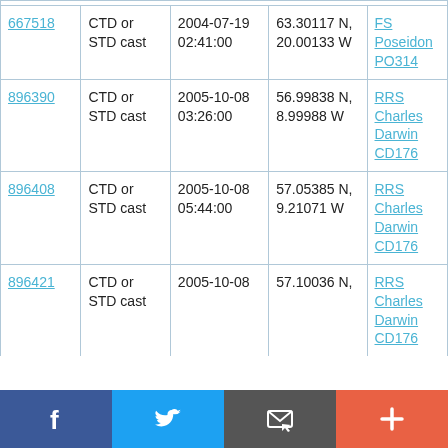| 667518 | CTD or STD cast | 2004-07-19 02:41:00 | 63.30117 N, 20.00133 W | FS Poseidon PO314 |
| 896390 | CTD or STD cast | 2005-10-08 03:26:00 | 56.99838 N, 8.99988 W | RRS Charles Darwin CD176 |
| 896408 | CTD or STD cast | 2005-10-08 05:44:00 | 57.05385 N, 9.21071 W | RRS Charles Darwin CD176 |
| 896421 | CTD or STD cast | 2005-10-08 | 57.10036 N, | RRS Charles Darwin CD176 |
Facebook | Twitter | Email | Plus